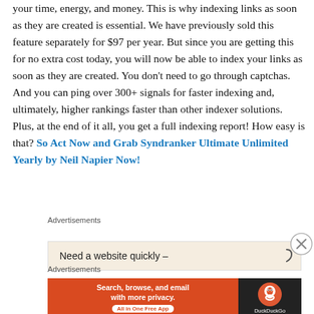your time, energy, and money. This is why indexing links as soon as they are created is essential. We have previously sold this feature separately for $97 per year. But since you are getting this for no extra cost today, you will now be able to index your links as soon as they are created. You don't need to go through captchas. And you can ping over 300+ signals for faster indexing and, ultimately, higher rankings faster than other indexer solutions. Plus, at the end of it all, you get a full indexing report! How easy is that? So Act Now and Grab Syndranker Ultimate Unlimited Yearly by Neil Napier Now!
Advertisements
[Figure (screenshot): Advertisement banner showing 'Need a website quickly –' with a close (X) button]
Advertisements
[Figure (screenshot): DuckDuckGo advertisement banner: 'Search, browse, and email with more privacy. All in One Free App' on orange background with DuckDuckGo logo on dark background]